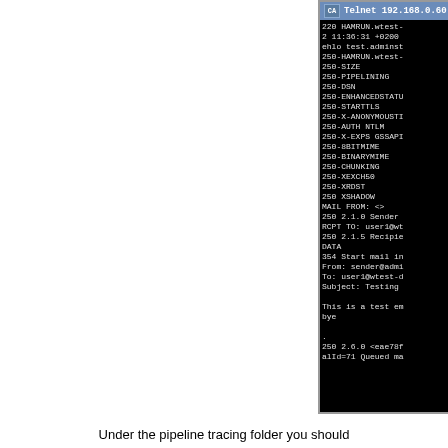[Figure (screenshot): Telnet 192.168.0.60 terminal window showing SMTP session with EHLO, MAIL FROM, RCPT TO, DATA commands and server responses including HAMRUN.wtest capabilities list and message queuing confirmation.]
Under the pipeline tracing folder you should